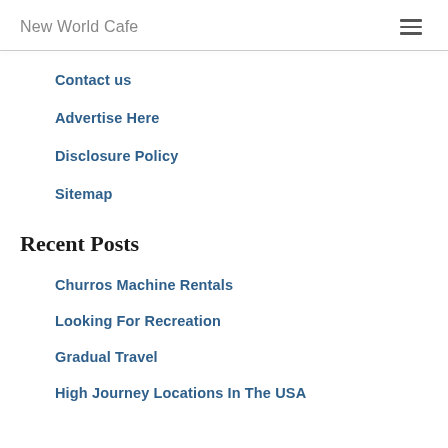New World Cafe
Contact us
Advertise Here
Disclosure Policy
Sitemap
Recent Posts
Churros Machine Rentals
Looking For Recreation
Gradual Travel
High Journey Locations In The USA